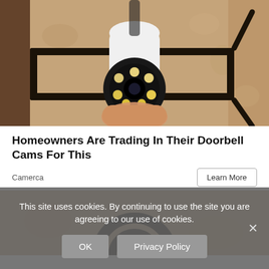[Figure (photo): Close-up photo of a person's hand installing or holding a white security camera with circular LED lights, mounted on a black metal bracket against a sandy/stone wall.]
Homeowners Are Trading In Their Doorbell Cams For This
Camerca
[Figure (photo): Partial photo of an object (likely another security device or doorbell) on a sandy/stone wall, showing a black ring-shaped mount.]
This site uses cookies. By continuing to use the site you are agreeing to our use of cookies.